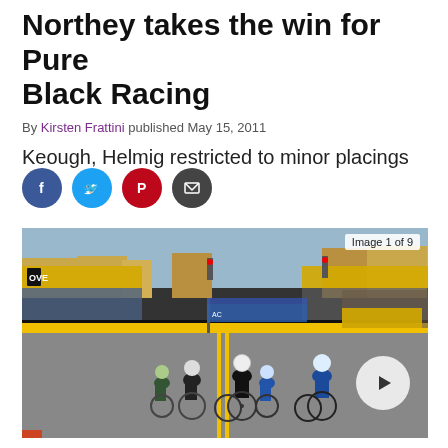Northey takes the win for Pure Black Racing
By Kirsten Frattini published May 15, 2011
Keough, Helmig restricted to minor placings
[Figure (photo): Cycling race sprint finish on a street course with spectators lining the barriers. Riders in black and blue kits sprint toward the finish line. Yellow banners decorate the course. 'Image 1 of 9' label in top right corner. Play button overlay on right side.]